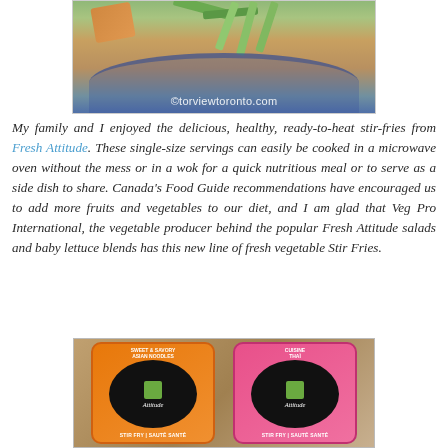[Figure (photo): A plate of stir-fry vegetables including green beans, carrots, and noodles on a blue-rimmed plate with watermark text ©torviewtoronto.com]
My family and I enjoyed the delicious, healthy, ready-to-heat stir-fries from Fresh Attitude. These single-size servings can easily be cooked in a microwave oven without the mess or in a wok for a quick nutritious meal or to serve as a side dish to share. Canada's Food Guide recommendations have encouraged us to add more fruits and vegetables to our diet, and I am glad that Veg Pro International, the vegetable producer behind the popular Fresh Attitude salads and baby lettuce blends has this new line of fresh vegetable Stir Fries.
[Figure (photo): Two Fresh Attitude stir fry packages, one with orange border and one with pink border, both labeled STIR FRY | SAUTÉ SANTÉ with Attitude branding]